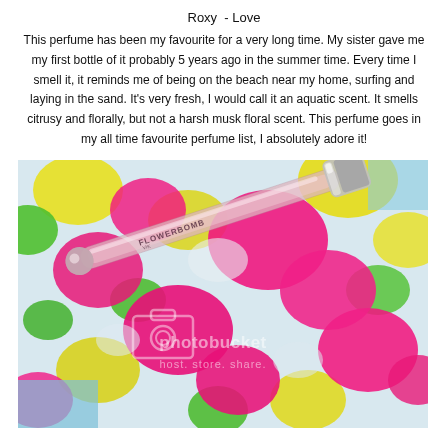Roxy - Love
This perfume has been my favourite for a very long time. My sister gave me my first bottle of it probably 5 years ago in the summer time. Every time I smell it, it reminds me of being on the beach near my home, surfing and laying in the sand. It's very fresh, I would call it an aquatic scent. It smells citrusy and florally, but not a harsh musk floral scent. This perfume goes in my all time favourite perfume list, I absolutely adore it!
[Figure (photo): Photo of a perfume roller bottle (FLOWERBOMB by Viktor & Rolf) lying diagonally on a colorful floral fabric background with pink, yellow, and green flowers. The bottle is clear/pink with a silver metallic cap. A photobucket watermark is visible over the image.]